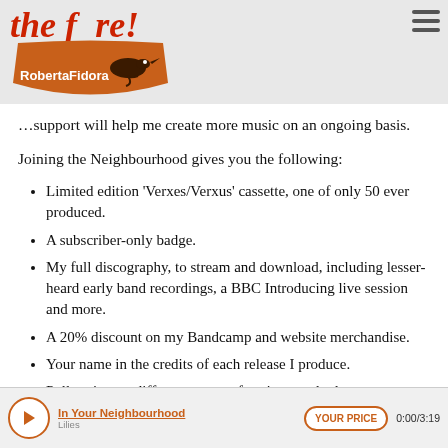the f…re!
[Figure (logo): RobertaFidora logo — orange rounded trapezoid shape with a bird silhouette and the text 'RobertaFidora' in white]
…your support will help me create more music on an ongoing basis.
Joining the Neighbourhood gives you the following:
Limited edition 'Verxes/Verxus' cassette, one of only 50 ever produced.
A subscriber-only badge.
My full discography, to stream and download, including lesser-heard early band recordings, a BBC Introducing live session and more.
A 20% discount on my Bandcamp and website merchandise.
Your name in the credits of each release I produce.
Poll voting on different stages of projects and releases.
Previews of artwork, design concepts, music and videos before anyone else.
Secret blog and photo gallery with progress
In Your Neighbourhood | YOUR PRICE | 0:00/3:19